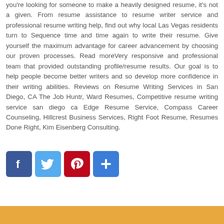you're looking for someone to make a heavily designed resume, it's not a given. From resume assistance to resume writer service and professional resume writing help, find out why local Las Vegas residents turn to Sequence time and time again to write their resume. Give yourself the maximum advantage for career advancement by choosing our proven processes. Read moreVery responsive and professional team that provided outstanding profile/resume results. Our goal is to help people become better writers and so develop more confidence in their writing abilities. Reviews on Resume Writing Services in San Diego, CA The Job Huntr, Ward Resumes, Competitive resume writing service san diego ca Edge Resume Service, Compass Career Counseling, Hillcrest Business Services, Right Foot Resume, Resumes Done Right, Kim Eisenberg Consulting.
[Figure (other): Social sharing buttons: Facebook (blue), Twitter (light blue), Pinterest (red), More/Plus (blue)]